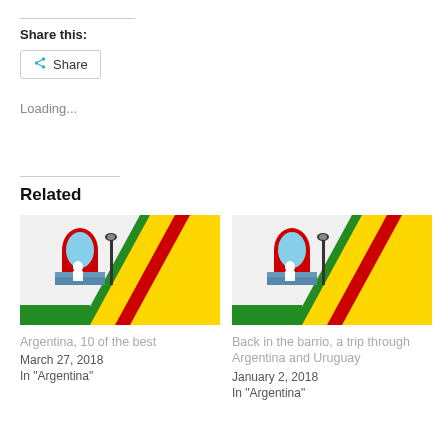Share this:
Share
Loading...
Related
[Figure (photo): Colorful building in La Boca neighborhood of Buenos Aires, Argentina, with a balcony and decorative architecture under a blue sky]
Argentina, 10 of the best
March 27, 2018
In "Argentina"
[Figure (photo): Colorful building in La Boca neighborhood of Buenos Aires, Argentina, with a balcony and decorative architecture under a blue sky]
Back in the barrio, a trip through Argentina and Uruguay
January 2, 2018
In "Argentina"